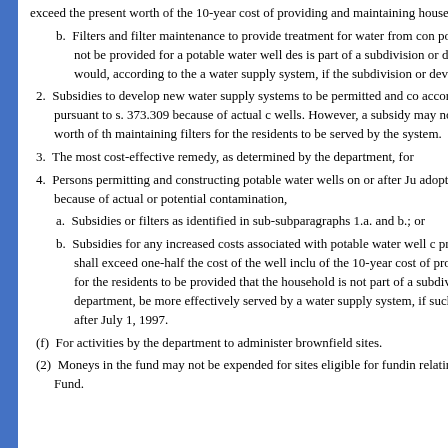exceed the present worth of the 10-year cost of providing and maintaining house connections; or
b. Filters and filter maintenance to provide treatment for water from contaminated wells to provide potability. However, a filter may not be provided for a potable water well designed to serve a household that is part of a subdivision or development of a size that would, according to the department, be more effectively served by a water supply system, if the subdivision or development received its development order on or after July 1, 1997.
2. Subsidies to develop new water supply systems to be permitted and constructed in accordance with standards adopted pursuant to s. 373.309 because of actual or potential contamination of wells. However, a subsidy may not exceed one-half of the present worth of the 10-year cost of providing and maintaining filters for the residents to be served by the system.
3. The most cost-effective remedy, as determined by the department, for
4. Persons permitting and constructing potable water wells on or after July 1, 1997, in accordance with standards adopted pursuant to s. 373.309 because of actual or potential contamination,
a. Subsidies or filters as identified in sub-subparagraphs 1.a. and b.; or
b. Subsidies for any increased costs associated with potable water well construction, provided that no such subsidy shall exceed one-half the cost of the well including one-half of the 10-year cost of providing and maintaining filters for the residents to be served, provided that the household is not part of a subdivision or development of a size that would, according to the department, be more effectively served by a water supply system, if such subdivision received its development order on or after July 1, 1997.
(f) For activities by the department to administer brownfield sites.
(2) Moneys in the fund may not be expended for sites eligible for funding under provisions relating to the Inland Protection Trust Fund.